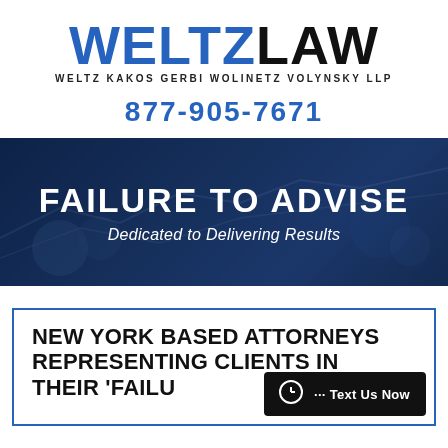[Figure (logo): Weltz Law logo — WELTZ in blue, LAW in black, with tagline WELTZ KAKOS GERBI WOLINETZ VOLYNSKY LLP]
877-905-7671
[Figure (photo): Dark blue financial background banner with coins and graphs]
FAILURE TO ADVISE
Dedicated to Delivering Results
NEW YORK BASED ATTORNEYS REPRESENTING CLIENTS IN THEIR 'FAILURE TO ADVISE'